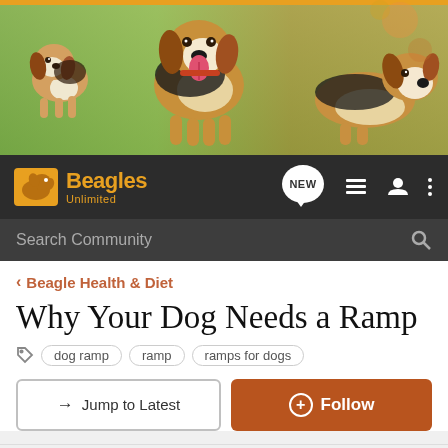[Figure (photo): Banner photo of three beagles in a grassy outdoor setting — a small beagle running on the left, a large beagle with tongue out in the center, and a beagle resting on the right]
Beagles Unlimited — NEW — navigation icons — Search Community
< Beagle Health & Diet
Why Your Dog Needs a Ramp
dog ramp  ramp  ramps for dogs
→ Jump to Latest   ⊕ Follow
1 - 6 of 6 Posts
SamK · Registered